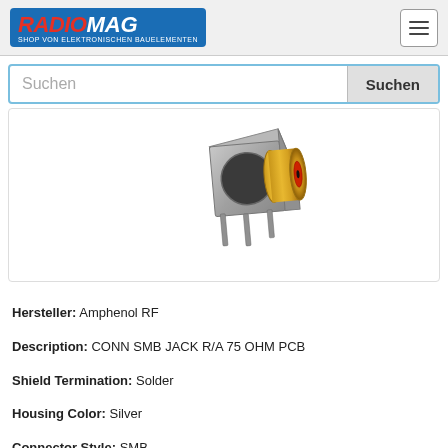RADIOMAG - SHOP VON ELEKTRONISCHEN BAUELEMENTEN
Suchen
[Figure (photo): SMB Jack right angle PCB mount connector with gold-plated barrel and red insulator, silver/grey metal housing with PCB pins, photographed on white background]
Hersteller: Amphenol RF
Description: CONN SMB JACK R/A 75 OHM PCB
Shield Termination: Solder
Housing Color: Silver
Connector Style: SMB
Fastening Type: Snap-On
Mounting Type: Through Hole, Right Angle
Impedance: 75Ohm
Contact Termination: Solder